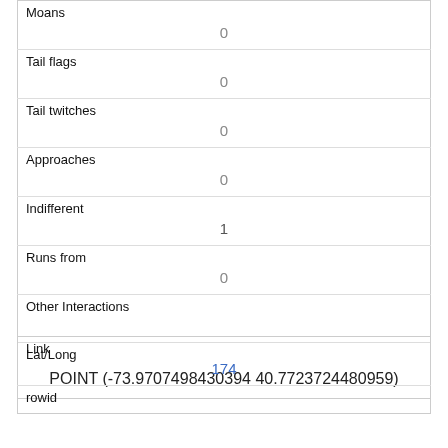| Moans | 0 |
| Tail flags | 0 |
| Tail twitches | 0 |
| Approaches | 0 |
| Indifferent | 1 |
| Runs from | 0 |
| Other Interactions |  |
| Lat/Long | POINT (-73.9707498430394 40.7723724480959) |
| Link | 174 |
| rowid |  |